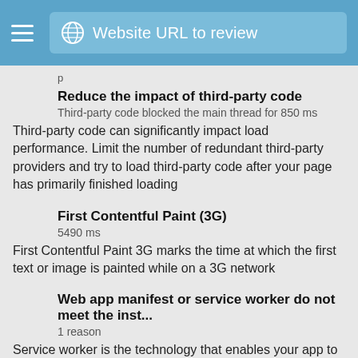Website URL to review
Reduce the impact of third-party code
Third-party code blocked the main thread for 850 ms
Third-party code can significantly impact load performance. Limit the number of redundant third-party providers and try to load third-party code after your page has primarily finished loading
First Contentful Paint (3G)
5490 ms
First Contentful Paint 3G marks the time at which the first text or image is painted while on a 3G network
Web app manifest or service worker do not meet the inst...
1 reason
Service worker is the technology that enables your app to use many Progressive Web App features, such as offline, add to homescreen, and push notifications. With proper service worker and manifest implementations, browsers can